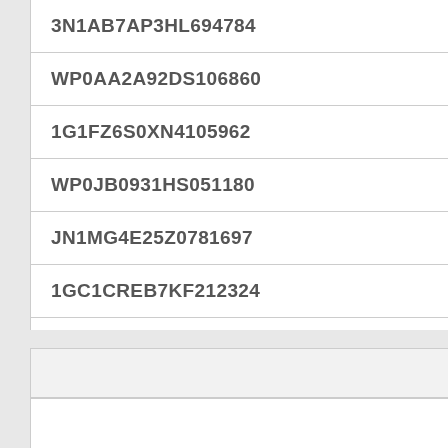| 3N1AB7AP3HL694784 |
| WP0AA2A92DS106860 |
| 1G1FZ6S0XN4105962 |
| WP0JB0931HS051180 |
| JN1MG4E25Z0781697 |
| 1GC1CREB7KF212324 |
| LBPKE1245G0094830 |